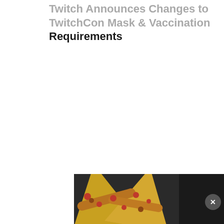Twitch Announces Changes to TwitchCon Mask & Vaccination Requirements
[Figure (infographic): Seamless food delivery advertisement banner showing pizza slices on dark background with Seamless logo in red and ORDER NOW button in white outlined box]